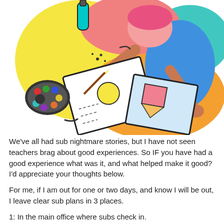[Figure (illustration): Colorful cartoon illustration of a person drawing or painting at a desk, with art supplies including a paint palette, papers with artwork, and a bottle. Bright colors including pink, blue, yellow, orange, and teal.]
We've all had sub nightmare stories, but I have not seen teachers brag about good experiences. So IF you have had a good experience what was it, and what helped make it good? I'd appreciate your thoughts below.
For me, if I am out for one or two days, and know I will be out, I leave clear sub plans in 3 places.
1: In the main office where subs check in.
2: On my whiteboard with big arrows pointing to them.